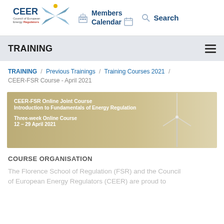[Figure (logo): CEER logo with text 'Council of European Energy Regulators' and crossed wind turbine blade graphic]
Members Calendar  Search
TRAINING
TRAINING / Previous Trainings / Training Courses 2021 / CEER-FSR Course - April 2021
[Figure (photo): CEER-FSR Online Joint Course banner image with wind turbine background. Text: 'CEER-FSR Online Joint Course Introduction to Fundamentals of Energy Regulation Three-week Online Course 12 – 29 April 2021']
COURSE ORGANISATION
The Florence School of Regulation (FSR) and the Council of European Energy Regulators (CEER) are proud to